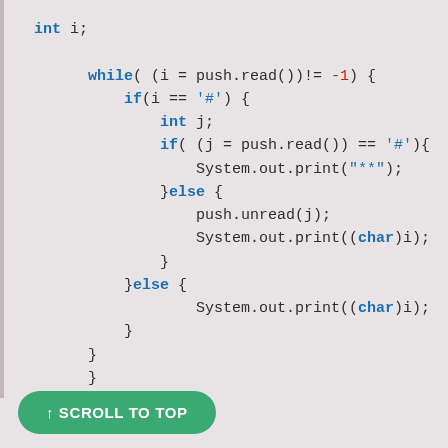int i;

while( (i = push.read())!= -1) {
    if(i == '#') {
        int j;
        if( (j = push.read()) == '#'){
            System.out.print("**");
        }else {
            push.unread(j);
            System.out.print((char)i);
        }
    }else {
            System.out.print((char)i);
    }
}
↑ SCROLL TO TOP